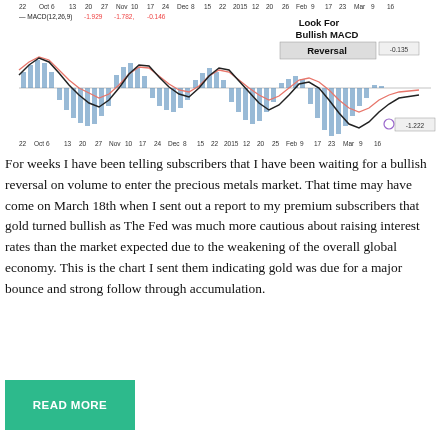[Figure (continuous-plot): MACD(12,26,9) chart showing oscillator lines and histogram bars for gold from October 2014 to March 2015. Annotation reads 'Look For Bullish MACD Reversal'. Values shown: -1.929, -1.782, -0.146, -0.135, -1.222.]
For weeks I have been telling subscribers that I have been waiting for a bullish reversal on volume to enter the precious metals market. That time may have come on March 18th when I sent out a report to my premium subscribers that gold turned bullish as The Fed was much more cautious about raising interest rates than the market expected due to the weakening of the overall global economy. This is the chart I sent them indicating gold was due for a major bounce and strong follow through accumulation.
READ MORE